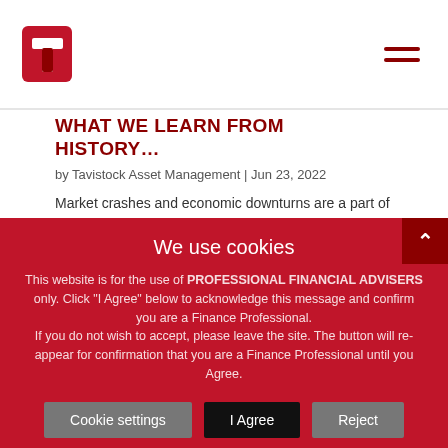Tavistock Asset Management
WHAT WE LEARN FROM HISTORY...
by Tavistock Asset Management | Jun 23, 2022
Market crashes and economic downturns are a part of life. Market calamity can occur seemingly out of nowhere and whether it be a dotcom bubble, a financial crisis, Brexit or Covid-19, we can never predict the full impact of a new market
We use cookies
This website is for the use of PROFESSIONAL FINANCIAL ADVISERS only. Click "I Agree" below to acknowledge this message and confirm you are a Finance Professional. If you do not wish to accept, please leave the site. The button will re-appear for confirmation that you are a Finance Professional until you Agree.
Cookie settings | I Agree | Reject